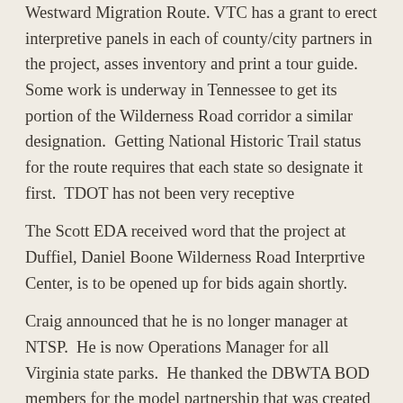Westward Migration Route. VTC has a grant to erect interpretive panels in each of county/city partners in the project, asses inventory and print a tour guide. Some work is underway in Tennessee to get its portion of the Wilderness Road corridor a similar designation. Getting National Historic Trail status for the route requires that each state so designate it first. TDOT has not been very receptive
The Scott EDA received word that the project at Duffiel, Daniel Boone Wilderness Road Interprtive Center, is to be opened up for bids again shortly.
Craig announced that he is no longer manager at NTSP. He is now Operations Manager for all Virginia state parks. He thanked the DBWTA BOD members for the model partnership that was created here; and the BOD thanked Craig for his inestimable contributions over the years. Craig and his family will continue to live in Scott County.